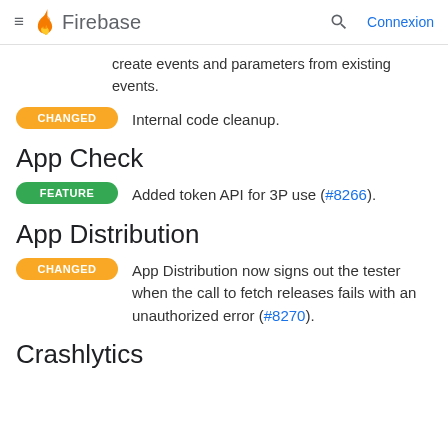Firebase — Connexion
create events and parameters from existing events.
CHANGED — Internal code cleanup.
App Check
FEATURE — Added token API for 3P use (#8266).
App Distribution
CHANGED — App Distribution now signs out the tester when the call to fetch releases fails with an unauthorized error (#8270).
Crashlytics